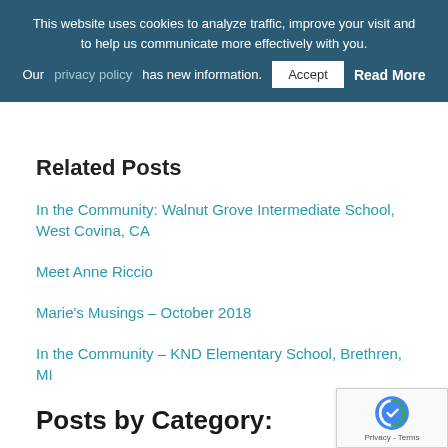This website uses cookies to analyze traffic, improve your visit and to help us communicate more effectively with you. Our privacy policy has new information. Accept Read More
Related Posts
In the Community: Walnut Grove Intermediate School, West Covina, CA
Meet Anne Riccio
Marie's Musings – October 2018
In the Community – KND Elementary School, Brethren, MI
Posts by Category:
bios
blog